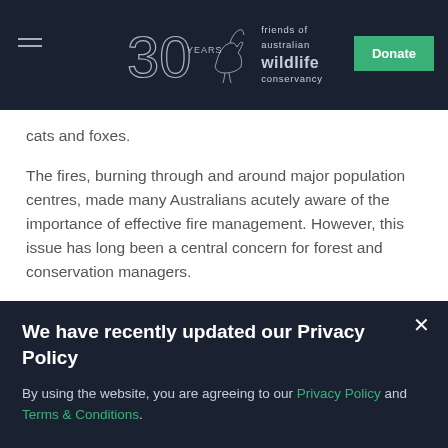friends of australian wildlife conservancy — 30 YEARS — Donate
cats and foxes.
The fires, burning through and around major population centres, made many Australians acutely aware of the importance of effective fire management. However, this issue has long been a central concern for forest and conservation managers.
Australia is particularly susceptible to fire, due to its climate and vegetation. Wildfires have shaped its environment for millennia. The particular frequency
We have recently updated our Privacy Policy
By using the website, you are agreeing to our Privacy Policy and Terms & Conditions.